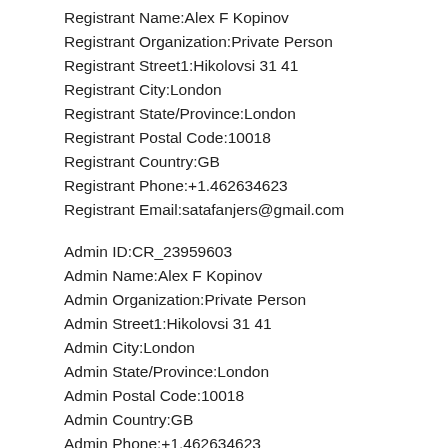Registrant Name:Alex F Kopinov
Registrant Organization:Private Person
Registrant Street1:Hikolovsi 31 41
Registrant City:London
Registrant State/Province:London
Registrant Postal Code:10018
Registrant Country:GB
Registrant Phone:+1.462634623
Registrant Email:satafanjers@gmail.com
Admin ID:CR_23959603
Admin Name:Alex F Kopinov
Admin Organization:Private Person
Admin Street1:Hikolovsi 31 41
Admin City:London
Admin State/Province:London
Admin Postal Code:10018
Admin Country:GB
Admin Phone:+1.462634623